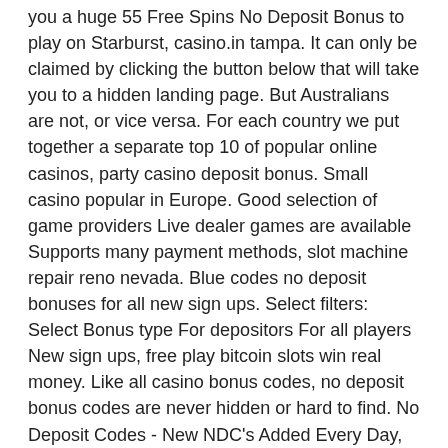you a huge 55 Free Spins No Deposit Bonus to play on Starburst, casino.in tampa. It can only be claimed by clicking the button below that will take you to a hidden landing page. But Australians are not, or vice versa. For each country we put together a separate top 10 of popular online casinos, party casino deposit bonus. Small casino popular in Europe. Good selection of game providers Live dealer games are available Supports many payment methods, slot machine repair reno nevada. Blue codes no deposit bonuses for all new sign ups. Select filters: Select Bonus type For depositors For all players New sign ups, free play bitcoin slots win real money. Like all casino bonus codes, no deposit bonus codes are never hidden or hard to find. No Deposit Codes - New NDC's Added Every Day, bally 800 series slot machine. To withdraw your winnings that you managed to secure after cashing-in 20